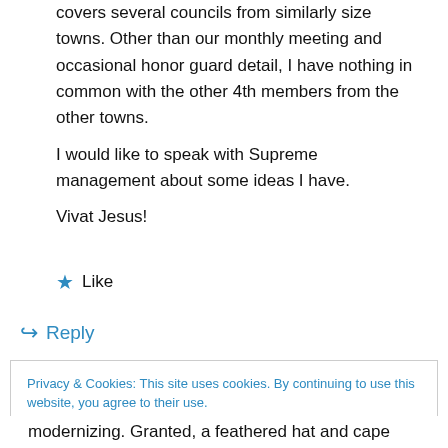covers several councils from similarly size towns. Other than our monthly meeting and occasional honor guard detail, I have nothing in common with the other 4th members from the other towns.
I would like to speak with Supreme management about some ideas I have.
Vivat Jesus!
★ Like
↪ Reply
Privacy & Cookies: This site uses cookies. By continuing to use this website, you agree to their use.
To find out more, including how to control cookies, see here: Cookie Policy
Close and accept
modernizing. Granted, a feathered hat and cape